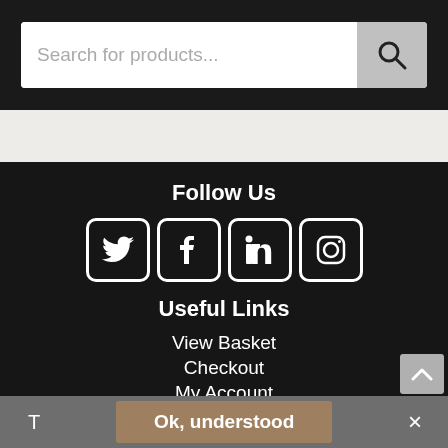Search for products...
Follow Us
[Figure (illustration): Social media icons: Twitter, Facebook, LinkedIn, Instagram]
Useful Links
View Basket
Checkout
My Account
Your Orders
Privacy Statement
Returns Policy
T  Ok, understood  ×